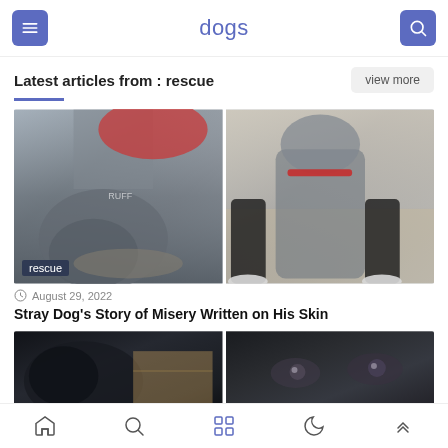dogs
Latest articles from : rescue
[Figure (photo): Two photos of a gray stray dog: left photo shows dog's face close up eating from a bowl held by a person wearing a RUFF shirt; right photo shows the full body of the same gray dog standing next to a person's legs on a sidewalk]
August 29, 2022
Stray Dog's Story of Misery Written on His Skin
[Figure (photo): Two partial photos of black dogs: left photo shows a black dog near cardboard boxes, right photo shows a close-up of a black dog's face and eyes]